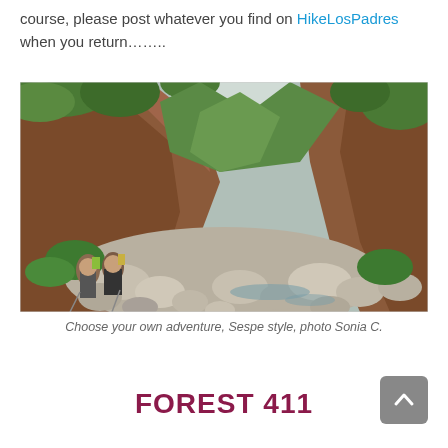course, please post whatever you find on HikeLosPadres when you return……..
[Figure (photo): Two hikers with backpacks walking along a rocky streambed in a narrow canyon with steep red rock walls and green vegetation, mountains visible in background.]
Choose your own adventure, Sespe style, photo Sonia C.
FOREST 411